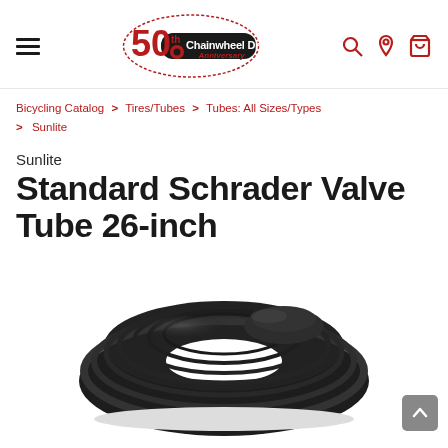Chainwheel Drive 50th Anniversary — navigation header with hamburger menu, logo, search, location, and cart icons
Bicycling Catalog > Tires/Tubes > Tubes: All Sizes/Types > Sunlite
Sunlite
Standard Schrader Valve Tube 26-inch
[Figure (photo): A coiled black bicycle inner tube (Standard Schrader Valve Tube 26-inch) photographed on a white background, viewed from slightly above.]